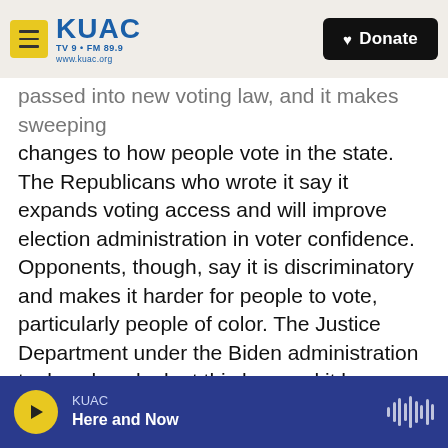KUAC TV 9 • FM 89.9 www.kuac.org | Donate
passed into new voting law, and it makes sweeping changes to how people vote in the state. The Republicans who wrote it say it expands voting access and will improve election administration in voter confidence. Opponents, though, say it is discriminatory and makes it harder for people to vote, particularly people of color. The Justice Department under the Biden administration took a close look at this law, and it has now filed a lawsuit challenging several aspects of it that it says are discriminatory.
CORNISH: So what exactly are they alleging?
KUAC Here and Now